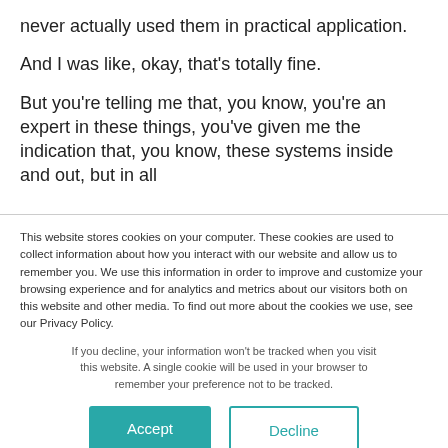never actually used them in practical application.
And I was like, okay, that's totally fine.
But you're telling me that, you know, you're an expert in these things, you've given me the indication that, you know, these systems inside and out, but in all
This website stores cookies on your computer. These cookies are used to collect information about how you interact with our website and allow us to remember you. We use this information in order to improve and customize your browsing experience and for analytics and metrics about our visitors both on this website and other media. To find out more about the cookies we use, see our Privacy Policy.
If you decline, your information won't be tracked when you visit this website. A single cookie will be used in your browser to remember your preference not to be tracked.
Accept
Decline